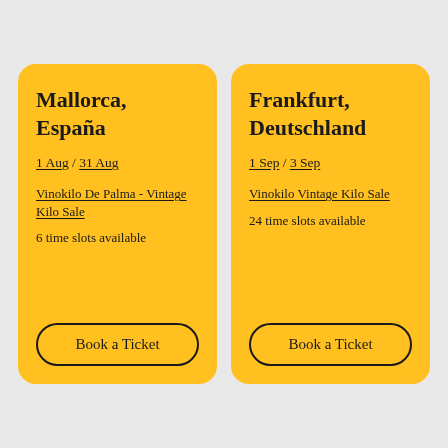Mallorca, España
1 Aug / 31 Aug
Vinokilo De Palma - Vintage Kilo Sale
6 time slots available
Book a Ticket
Frankfurt, Deutschland
1 Sep / 3 Sep
Vinokilo Vintage Kilo Sale
24 time slots available
Book a Ticket